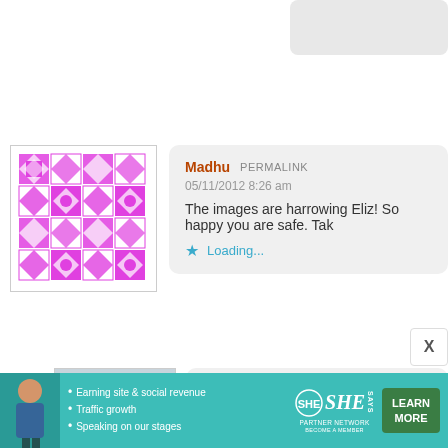[Figure (screenshot): Partial gray rounded rectangle visible at top right, likely a comment bubble cropped by page edge]
[Figure (illustration): Avatar image for user Madhu: pink/magenta geometric quilt-pattern avatar on white background]
Madhu  PERMALINK
05/11/2012 8:26 am
The images are harrowing Eliz! So happy you are safe. Tak
★ Loading...
[Figure (photo): Avatar image for user eof737: photo of a traditional Japanese red gate/shrine building]
eof737  PERMALINK
14/11/2012 9:57 pm
TY Madhu! It was a harrowing experienc
★ Loading...
[Figure (infographic): SHE Partner Network advertisement banner with teal background, woman photo, bullet points about earning site & social revenue, traffic growth, speaking on stages, SHE logo, and LEARN MORE button]